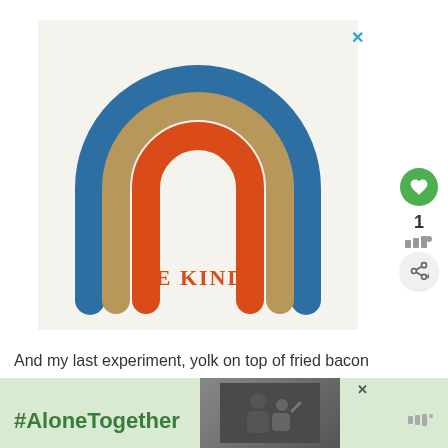[Figure (illustration): A rainbow arch illustration with three concentric arches in blue (outer), tan/khaki (middle), and red-orange (inner). Below the arches, the text 'BE KIND.' is written in red-orange capital letters. Background is off-white/cream.]
1
And my last experiment, yolk on top of fried bacon
[Figure (photo): Advertisement banner with green background showing '#AloneTogether' hashtag text and a photo of a man and child waving, likely a social media campaign ad.]